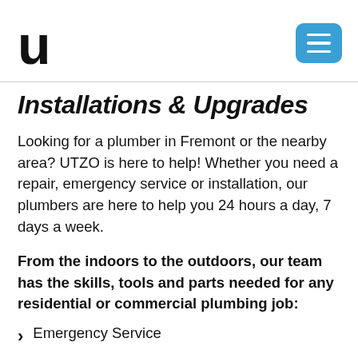UTZO logo and navigation menu
Installations & Upgrades
Looking for a plumber in Fremont or the nearby area? UTZO is here to help! Whether you need a repair, emergency service or installation, our plumbers are here to help you 24 hours a day, 7 days a week.
From the indoors to the outdoors, our team has the skills, tools and parts needed for any residential or commercial plumbing job:
Emergency Service